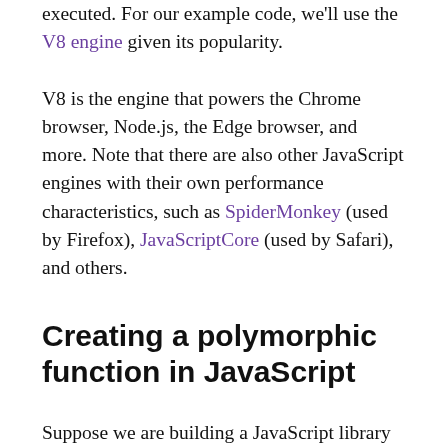executed. For our example code, we'll use the V8 engine given its popularity.
V8 is the engine that powers the Chrome browser, Node.js, the Edge browser, and more. Note that there are also other JavaScript engines with their own performance characteristics, such as SpiderMonkey (used by Firefox), JavaScriptCore (used by Safari), and others.
Creating a polymorphic function in JavaScript
Suppose we are building a JavaScript library that enables other engineers to easily store